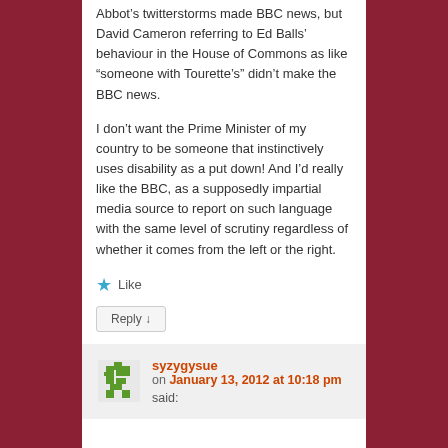Abbot's twitterstorms made BBC news, but David Cameron referring to Ed Balls' behaviour in the House of Commons as like “someone with Tourette’s” didn’t make the BBC news.
I don’t want the Prime Minister of my country to be someone that instinctively uses disability as a put down! And I’d really like the BBC, as a supposedly impartial media source to report on such language with the same level of scrutiny regardless of whether it comes from the left or the right.
★ Like
Reply ↓
syzygysue on January 13, 2012 at 10:18 pm said: